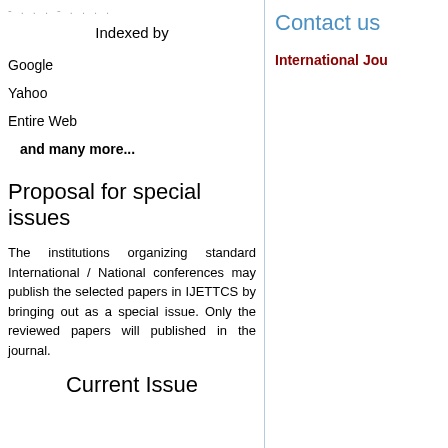- . . .  -  . . .  .
Indexed by
Google
Yahoo
Entire Web
and many more...
Proposal for special issues
The institutions organizing standard International / National conferences may publish the selected papers in IJETTCS by bringing out as a special issue. Only the reviewed papers will published in the journal.
Current Issue
Contact us
International Jou